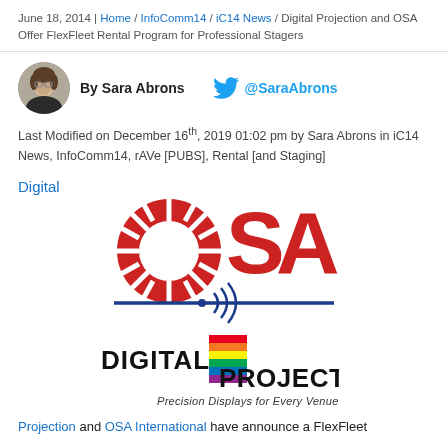June 18, 2014 | Home / InfoComm14 / iC14 News / Digital Projection and OSA Offer FlexFleet Rental Program for Professional Stagers
By Sara Abrons  @SaraAbrons
Last Modified on December 16th, 2019 01:02 pm by Sara Abrons in iC14 News, InfoComm14, rAVe [PUBS], Rental [and Staging]
Digital
[Figure (logo): OSA International logo — large red stylized letters OSA with sunburst O, and a signal wave icon on a horizontal blue line beneath]
[Figure (logo): Digital Projection logo — black bold text 'DIGITAL PROJECTION' with rainbow diagonal stripe and tagline 'Precision Displays for Every Venue']
Projection and OSA International have announce a FlexFleet